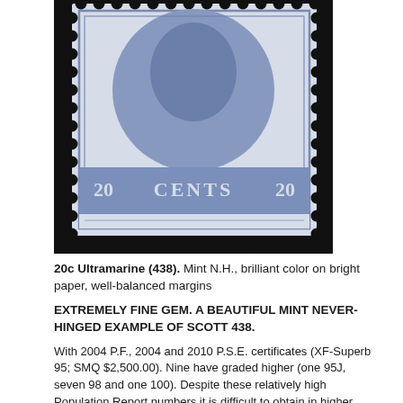[Figure (photo): Close-up photograph of a 20 cent ultramarine US postage stamp (Scott 438) showing Washington portrait with perforations visible, dark background]
20c Ultramarine (438). Mint N.H., brilliant color on bright paper, well-balanced margins
EXTREMELY FINE GEM. A BEAUTIFUL MINT NEVER-HINGED EXAMPLE OF SCOTT 438.
With 2004 P.F., 2004 and 2010 P.S.E. certificates (XF-Superb 95; SMQ $2,500.00). Nine have graded higher (one 95J, seven 98 and one 100). Despite these relatively high Population Report numbers it is difficult to obtain in higher grades -- the highest grade we have offered in our auctions is a 95
IMAGE MAGNIFIER / DOWNLOAD
PSE POPULATION REPORT